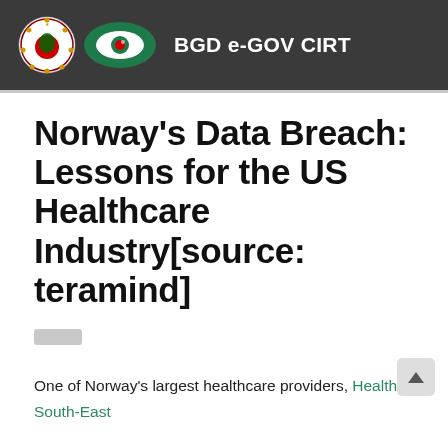BGD e-GOV CIRT
Norway's Data Breach: Lessons for the US Healthcare Industry[source: teramind]
One of Norway's largest healthcare providers, Health South-East